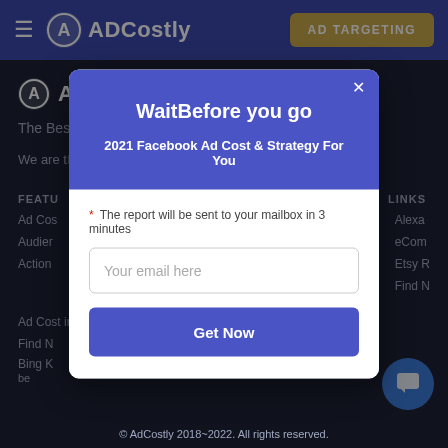ADCostly — AD TARGETING
[Figure (screenshot): ADCostly website background with logo, tagline, features and links sections visible behind a modal dialog overlay]
Wait⁠Before you go️
2021 Facebook Ad Cost & Strategy For You
* The report will be sent to your mailbox in 3 minutes
Your email here
Get Now
© AdCostly 2018~2022. All rights reserved.